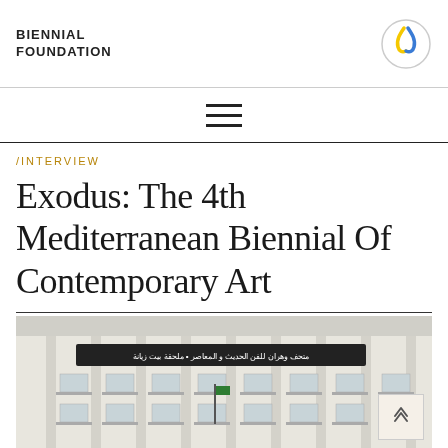BIENNIAL FOUNDATION
/INTERVIEW
Exodus: The 4th Mediterranean Biennial Of Contemporary Art
[Figure (photo): Exterior facade of a neoclassical building with Arabic text banner reading the museum name, multiple floors of windows with balconies and decorative columns, green flag visible]